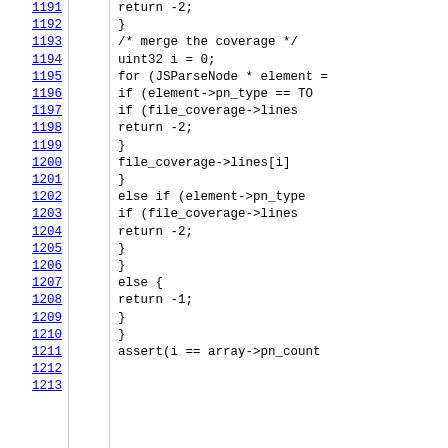Code listing lines 1191-1212 showing C/JavaScript coverage merge logic with line numbers, return statements, for loop with JSParseNode, if/else if/else branches, file_coverage->lines[i] access, and assert statement.